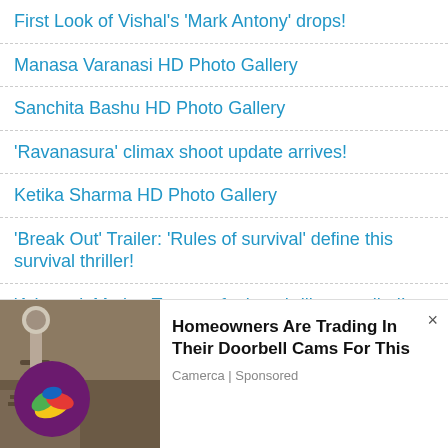First Look of Vishal's 'Mark Antony' drops!
Manasa Varanasi HD Photo Gallery
Sanchita Bashu HD Photo Gallery
'Ravanasura' climax shoot update arrives!
Ketika Sharma HD Photo Gallery
'Break Out' Trailer: 'Rules of survival' define this survival thriller!
'Atharva': Motion Teaser of crime thriller unveiled!
Cinematographer Raj K Nalli HD Photo Gallery
'Cobra' is a visual treat: Actor Vikram @ pre-release event
View More Updates
[Figure (logo): Circular logo with colorful banana/fruit design on dark purple background]
[Figure (photo): Advertisement photo showing an outdoor light fixture/security camera mounted on a stone wall]
Homeowners Are Trading In Their Doorbell Cams For This
Camerca | Sponsored